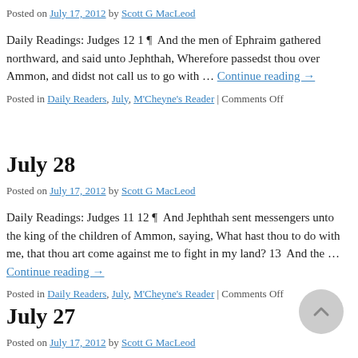Posted on July 17, 2012 by Scott G MacLeod
Daily Readings: Judges 12 1 ¶  And the men of Ephraim gathered northward, and said unto Jephthah, Wherefore passedst thou over Ammon, and didst not call us to go with … Continue reading →
Posted in Daily Readers, July, M'Cheyne's Reader | Comments Off
July 28
Posted on July 17, 2012 by Scott G MacLeod
Daily Readings: Judges 11 12 ¶  And Jephthah sent messengers unto the king of the children of Ammon, saying, What hast thou to do with me, that thou art come against me to fight in my land? 13  And the … Continue reading →
Posted in Daily Readers, July, M'Cheyne's Reader | Comments Off
July 27
Posted on July 17, 2012 by Scott G MacLeod